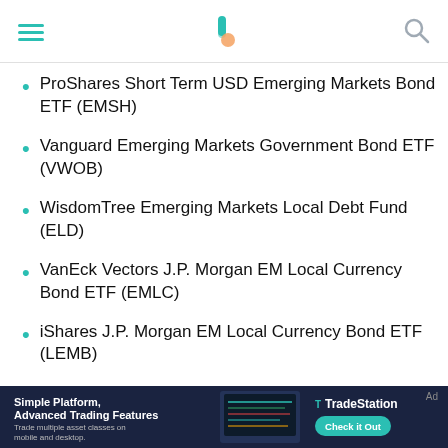[Navigation header with hamburger menu, Bankrate logo, and search icon]
ProShares Short Term USD Emerging Markets Bond ETF (EMSH)
Vanguard Emerging Markets Government Bond ETF (VWOB)
WisdomTree Emerging Markets Local Debt Fund (ELD)
VanEck Vectors J.P. Morgan EM Local Currency Bond ETF (EMLC)
iShares J.P. Morgan EM Local Currency Bond ETF (LEMB)
SPDR Bloomberg Barclays Emerging Markets
[Figure (screenshot): TradeStation advertisement banner: 'Simple Platform, Advanced Trading Features. Trade multiple asset classes on mobile and desktop.' with TradeStation logo and 'Check it Out' CTA button.]